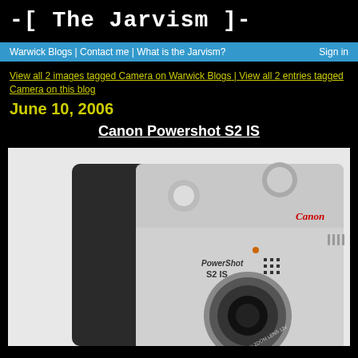-[ The Jarvism ]-
Warwick Blogs | Contact me | What is the Jarvism? Sign in
View all 2 images tagged Camera on Warwick Blogs | View all 2 entries tagged Camera on this blog
June 10, 2006
Canon Powershot S2 IS
[Figure (photo): Close-up photo of Canon PowerShot S2 IS camera showing the top controls, Canon brand name, PowerShot S2 IS logo, and Canon Zoom Lens 12x on a white background]